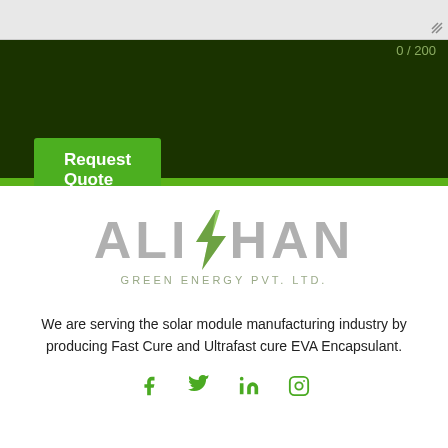0 / 200
Request Quote
[Figure (logo): Alishan Green Energy Pvt. Ltd. logo with lightning bolt replacing the S in ALISHAN, and subtitle text GREEN ENERGY PVT. LTD.]
We are serving the solar module manufacturing industry by producing Fast Cure and Ultrafast cure EVA Encapsulant.
[Figure (infographic): Social media icons: Facebook, Twitter, LinkedIn, Instagram in green color]